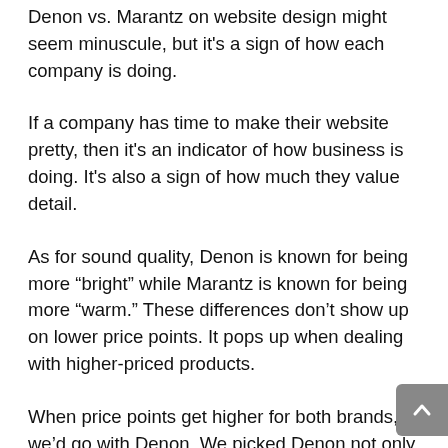Denon vs. Marantz on website design might seem minuscule, but it's a sign of how each company is doing.
If a company has time to make their website pretty, then it's an indicator of how business is doing. It's also a sign of how much they value detail.
As for sound quality, Denon is known for being more "bright" while Marantz is known for being more "warm." These differences don't show up on lower price points. It pops up when dealing with higher-priced products.
When price points get higher for both brands, we'd go with Denon. We picked Denon not only because of relative sound quality, but they also offer more